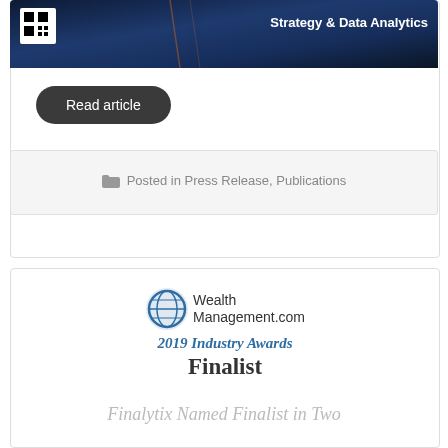[Figure (screenshot): Dark blue banner image with QR code on left and text 'Strategy & Data Analytics' on right]
Read article
Posted in Press Release, Publications
[Figure (logo): WealthManagement.com 2019 Industry Awards Finalist logo with circular globe icon]
Finalytix Named Finalist in Two